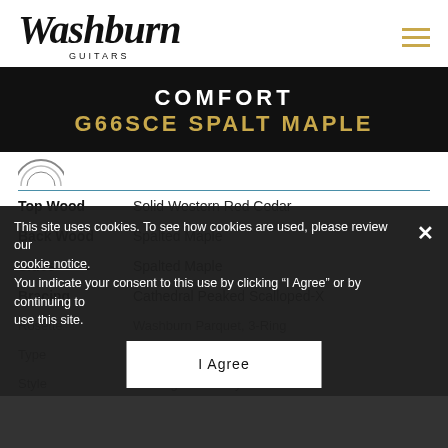Washburn Guitars
COMFORT
G66SCE SPALT MAPLE
| Attribute | Value |
| --- | --- |
| Top Wood | Solid Western Red Cedar |
| Back Wood | Spalted Maple |
| Sides | Spalted Maple |
| Bracing | Cathedral Peaked Scalloped-X |
| Rosette | Washburn Parquet, 3-Ring |
| Type | Acoustic Guitars |
| Style | 6 String Ac...cutaway |
This site uses cookies. To see how cookies are used, please review our cookie notice. You indicate your consent to this use by clicking "I Agree" or by continuing to use this site.
I Agree